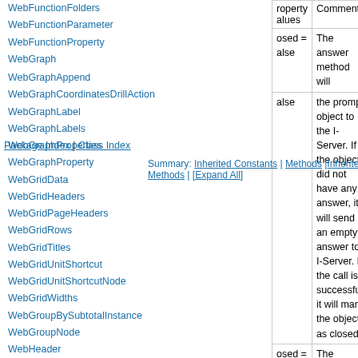WebFunctionFolders
WebFunctionParameter
WebFunctionProperty
WebGraph
WebGraphAppend
WebGraphCoordinatesDrillAction
WebGraphLabel
WebGraphLabels
WebGraphProperties
WebGraphProperty
WebGridData
WebGridHeaders
WebGridPageHeaders
WebGridRows
WebGridTitles
WebGridUnitShortcut
WebGridUnitShortcutNode
WebGridWidths
WebGroupBySubtotalInstance
WebGroupNode
WebHeader
WebHeaders
Package Index | Class Index
Summary: Inherited Constants | Methods | Inherited Methods | [Expand All]
| roperty alues | Comments |
| --- | --- |
| osed = alse | The answer method will |
| alse | the prompt object to the I-Server. If the object did not have any answer, it will send an empty answer to I-Server. If the call is successful, it will mark the object as closed. |
| osed = alse nd | The answer method will ask the I- |